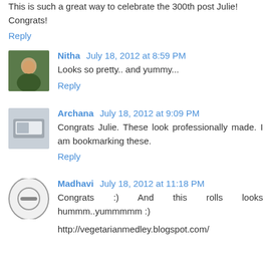This is such a great way to celebrate the 300th post Julie! Congrats!
Reply
Nitha July 18, 2012 at 8:59 PM
Looks so pretty.. and yummy...
Reply
Archana July 18, 2012 at 9:09 PM
Congrats Julie. These look professionally made. I am bookmarking these.
Reply
Madhavi July 18, 2012 at 11:18 PM
Congrats :) And this rolls looks hummm..yummmmm :)
http://vegetarianmedley.blogspot.com/